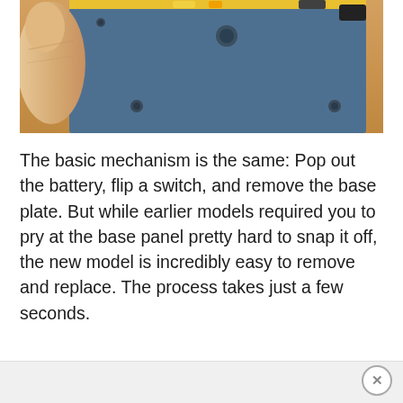[Figure (photo): Photo of a hand holding the bottom/back of a blue electronic device, showing the base plate and screws. The device appears to be a handheld console or similar gadget placed on a wooden surface.]
The basic mechanism is the same: Pop out the battery, flip a switch, and remove the base plate. But while earlier models required you to pry at the base panel pretty hard to snap it off, the new model is incredibly easy to remove and replace. The process takes just a few seconds.